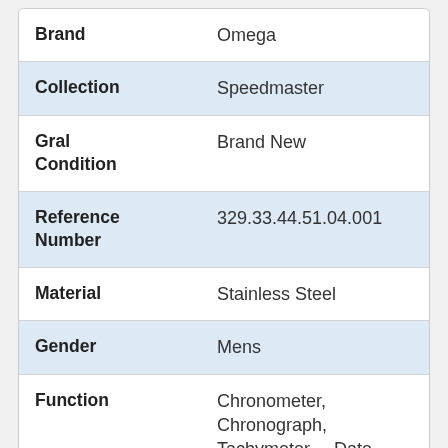| Attribute | Value |
| --- | --- |
| Brand | Omega |
| Collection | Speedmaster |
| Gral Condition | Brand New |
| Reference Number | 329.33.44.51.04.001 |
| Material | Stainless Steel |
| Gender | Mens |
| Function | Chronometer, Chronograph, Tachymeter, Date, |